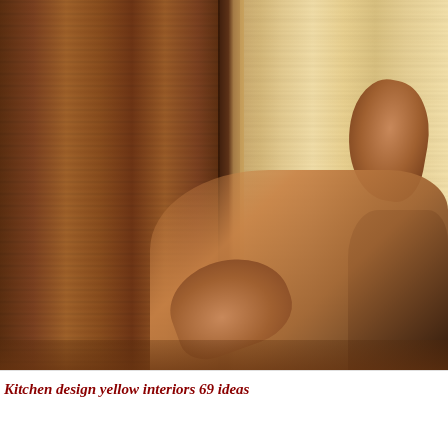[Figure (photo): Close-up photo of a person's hands installing or fitting a light-colored wooden panel (beadboard/tongue-and-groove) next to a darker stained wood cabinet or panel. The hands grip the panel from both top and bottom. The person is wearing a dark sleeve visible at the right edge.]
Kitchen design yellow interiors 69 ideas
[Figure (photo): Partial view of a second photo at the bottom of the page showing a light gray/white interior, partially visible.]